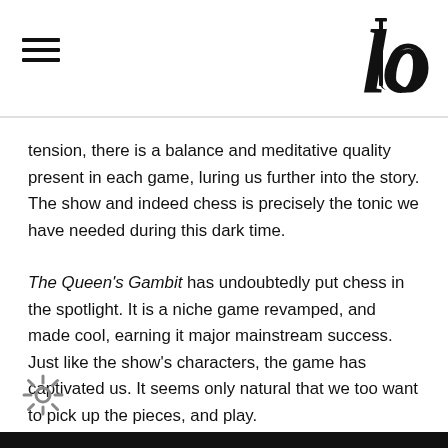≡  [logo]
tension, there is a balance and meditative quality present in each game, luring us further into the story. The show and indeed chess is precisely the tonic we have needed during this dark time.
The Queen's Gambit has undoubtedly put chess in the spotlight. It is a niche game revamped, and made cool, earning it major mainstream success. Just like the show's characters, the game has captivated us. It seems only natural that we too want to pick up the pieces, and play.